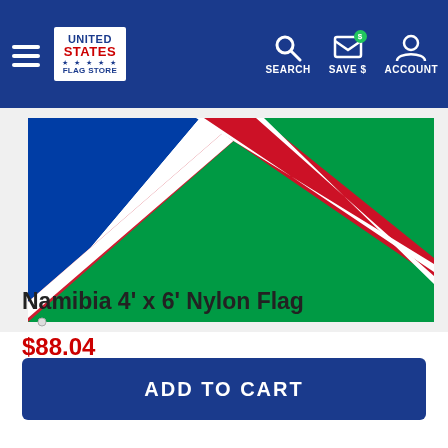[Figure (screenshot): United States Flag Store website header with hamburger menu, logo, and icons for SEARCH, SAVE $, and ACCOUNT]
[Figure (photo): Namibia flag displayed horizontally showing blue, white, red diagonal stripe and green field]
Namibia 4' x 6' Nylon Flag
$88.04
ADD TO CART